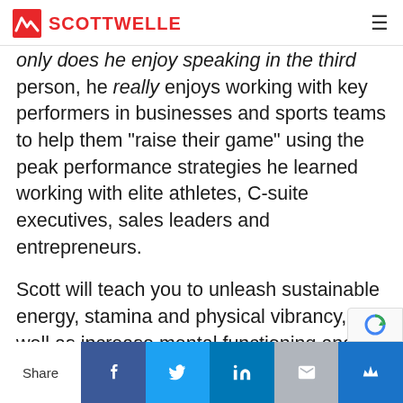SCOTTWELLE
only does he enjoy speaking in the third person, he really enjoys working with key performers in businesses and sports teams to help them "raise their game" using the peak performance strategies he learned working with elite athletes, C-suite executives, sales leaders and entrepreneurs.
Scott will teach you to unleash sustainable energy, stamina and physical vibrancy, as well as increase mental functioning and push beyond your existing performance barriers.
Share | Facebook | Twitter | LinkedIn | Email | Crown